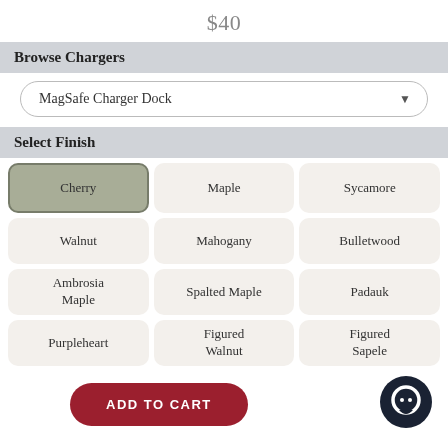$40
Browse Chargers
MagSafe Charger Dock
Select Finish
Cherry
Maple
Sycamore
Walnut
Mahogany
Bulletwood
Ambrosia Maple
Spalted Maple
Padauk
Purpleheart
Figured Walnut
Figured Sapele
ADD TO CART